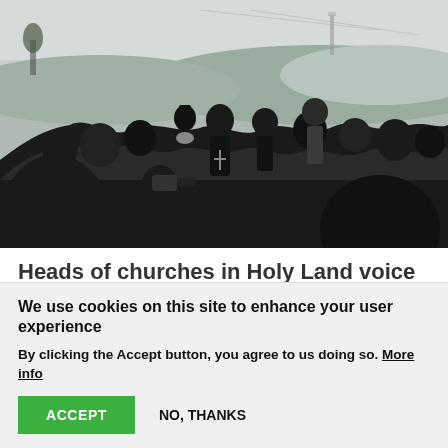[Figure (photo): Outdoor gathering of church leaders and crowd on a hillside. Several Orthodox clergy in black robes and vestments are visible among a large group of people. Hilly landscape visible in background under overcast sky.]
Heads of churches in Holy Land voice objection to Mount of Olives being enfolded into national park
After heads of churches in the Holy Land voiced their
We use cookies on this site to enhance your user experience
By clicking the Accept button, you agree to us doing so. More info
ACCEPT
NO, THANKS